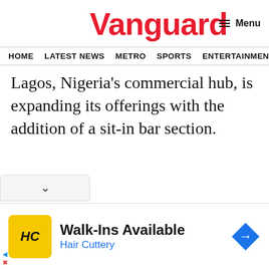Vanguard
HOME  LATEST NEWS  METRO  SPORTS  ENTERTAINMENT  VIDEOS
Lagos, Nigeria's commercial hub, is expanding its offerings with the addition of a sit-in bar section.
[Figure (other): Advertisement: Walk-Ins Available - Hair Cuttery with HC logo and map pin icon]